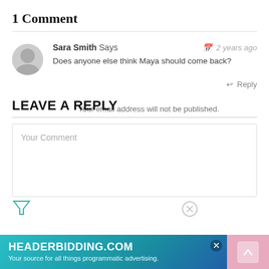1 Comment
Sara Smith Says
2 years ago
Does anyone else think Maya should come back?
Reply
LEAVE A REPLY
Your email address will not be published.
Your Comment
[Figure (screenshot): Advertisement banner for HEADERBIDDING.COM with text 'Your source for all things programmatic advertising.']